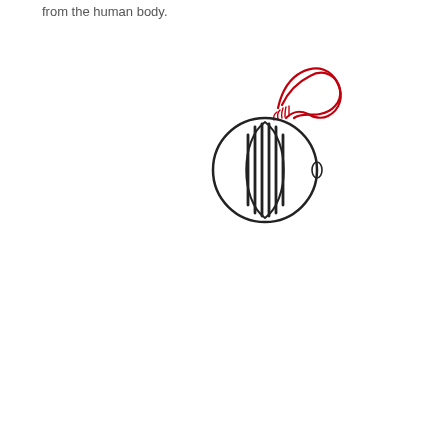from the human body.
[Figure (illustration): Hand-drawn sketch of a round anatomical structure (resembling an eye or cell) with vertical line striations inside, and a red hand-drawn cloud or fluid shape emanating from the top-right of the structure, connected by thin red lines.]